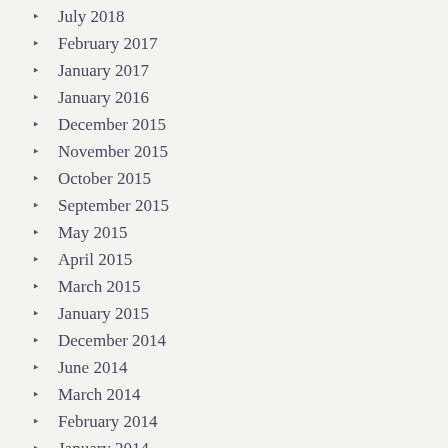July 2018
February 2017
January 2017
January 2016
December 2015
November 2015
October 2015
September 2015
May 2015
April 2015
March 2015
January 2015
December 2014
June 2014
March 2014
February 2014
January 2014
December 2013